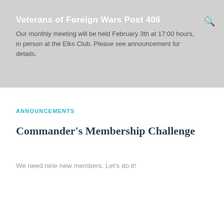Veterans of Foreign Wars Post 406
Our monthly meeting will be held February 3th at 17:00 hours, in person at the Elks Club. Please see announcement for details.
ANNOUNCEMENTS
Commander’s Membership Challenge
We need nine new members. Let’s do it!